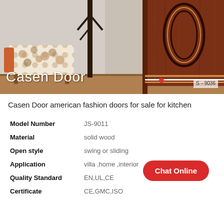[Figure (photo): Product photo of a Casen Door showing a decorative wooden door with ornate oval panel design in reddish-brown wood grain finish, with a patterned armchair and coat rack in the background. Brand name 'Casen Door' overlaid at bottom left, red dot in center-bottom area, and watermark 'S-9036' at bottom right.]
Casen Door american fashion doors for sale for kitchen
| Model Number | JS-9011 |
| Material | solid wood |
| Open style | swing or sliding |
| Application | villa ,home ,interior |
| Quality Standard | EN,UL,CE |
| Certificate | CE,GMC,ISO |